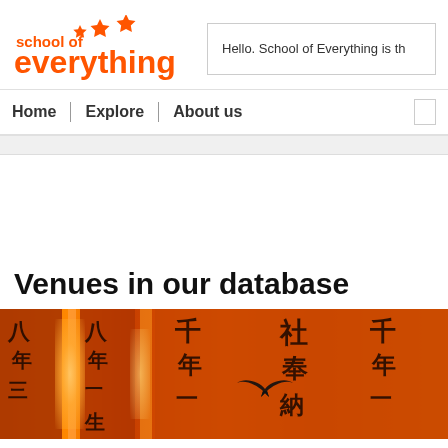[Figure (logo): School of Everything logo — orange text with stars]
Hello. School of Everything is th
Home | Explore | About us
Venues in our database
[Figure (photo): Photo of orange Japanese torii gate pillars with kanji characters in black]